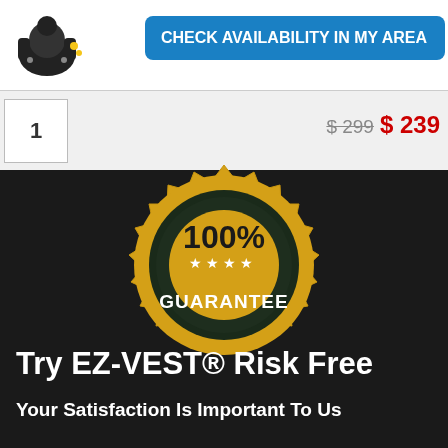[Figure (logo): EZ-VEST logo showing a wearable vest/harness icon in black]
[Figure (other): Blue rounded rectangle button with text CHECK AVAILABILITY IN MY AREA]
1
$ 299  $ 239
[Figure (illustration): Gold 100% Guarantee badge/seal with dark green center ring, stars, and spiky border. Background also shows faint MONEY BACK watermark text.]
Try EZ-VEST® Risk Free
Your Satisfaction Is Important To Us